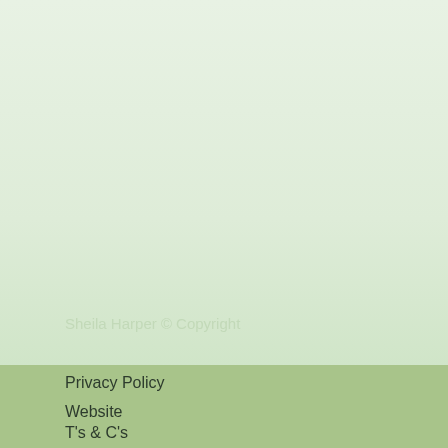Sheila Harper © Copyright
Privacy Policy
Website
T's & C's
Attendee Cancellation Policy